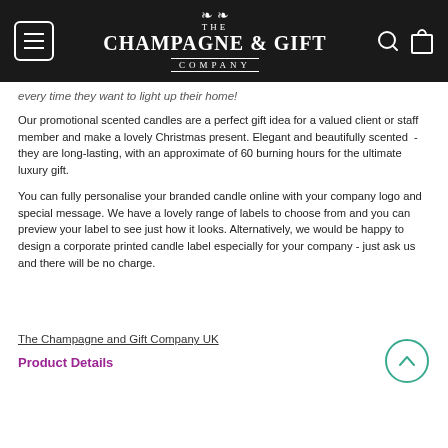THE CHAMPAGNE & GIFT COMPANY
every time they want to light up their home!
Our promotional scented candles are a perfect gift idea for a valued client or staff member and make a lovely Christmas present. Elegant and beautifully scented  - they are long-lasting, with an approximate of 60 burning hours for the ultimate luxury gift.
You can fully personalise your branded candle online with your company logo and special message. We have a lovely range of labels to choose from and you can preview your label to see just how it looks. Alternatively, we would be happy to design a corporate printed candle label especially for your company - just ask us and there will be no charge.
The Champagne and Gift Company UK
Product Details